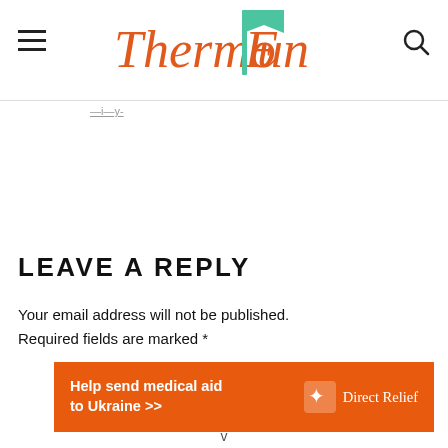ThermoFun
—i—y-
LEAVE A REPLY
Your email address will not be published.
Required fields are marked *
[Figure (other): Direct Relief advertisement banner: Help send medical aid to Ukraine >> with Direct Relief logo]
v